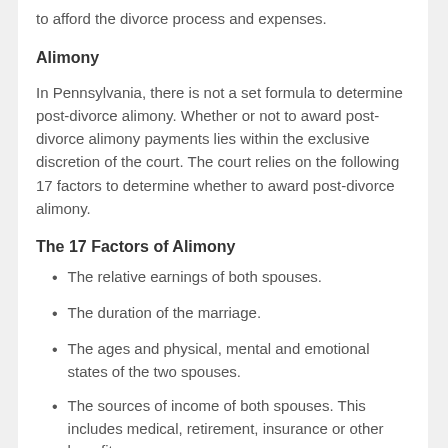to afford the divorce process and expenses.
Alimony
In Pennsylvania, there is not a set formula to determine post-divorce alimony. Whether or not to award post-divorce alimony payments lies within the exclusive discretion of the court. The court relies on the following 17 factors to determine whether to award post-divorce alimony.
The 17 Factors of Alimony
The relative earnings of both spouses.
The duration of the marriage.
The ages and physical, mental and emotional states of the two spouses.
The sources of income of both spouses. This includes medical, retirement, insurance or other benefits.